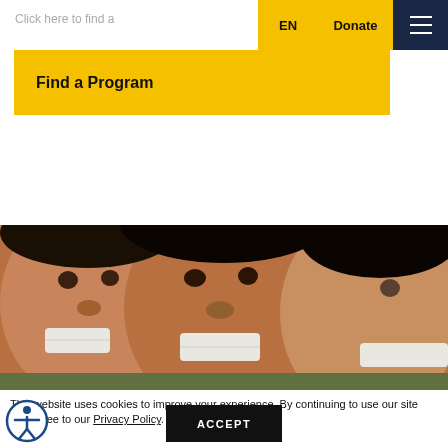Click here to find a
EN  Donate  ☰
Find a Program
[Figure (photo): Close-up photo of three children smiling and laughing together, faces filling the frame]
This website uses cookies to improve your experience. By continuing to use our site you agree to our Privacy Policy.
ACCEPT